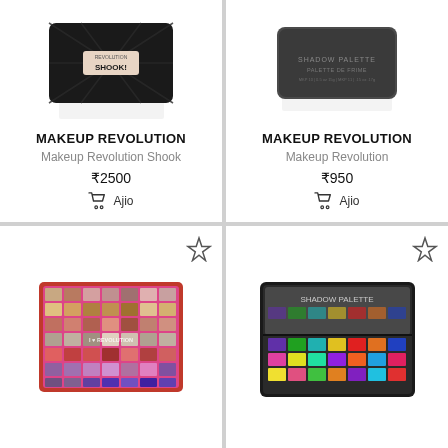[Figure (photo): Makeup Revolution Shook eyeshadow palette in black angular case]
MAKEUP REVOLUTION
Makeup Revolution Shook
₹2500
Ajio
[Figure (photo): Makeup Revolution Shadow Palette in dark matte grey case]
MAKEUP REVOLUTION
Makeup Revolution
₹950
Ajio
[Figure (photo): Makeup Revolution large eyeshadow palette with pink/red border and colorful grid of 49 shades]
[Figure (photo): Bright colorful eyeshadow palette with 21 rainbow shades in black case open]